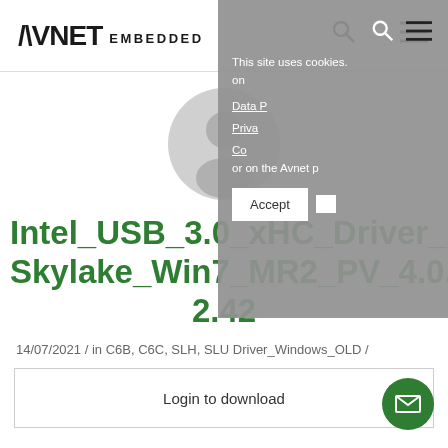AVNET EMBEDDED
This site uses cookies. on Data P Priva Co or on the Avnet p
[Figure (illustration): User avatar placeholder: grey circle with silhouette of a person (head and shoulders)]
Intel_USB_3.0_xHC_Driver_Skylake_Win7_MR2_PV_4.0.2.42
14/07/2021 / in C6B, C6C, SLH, SLU Driver_Windows_OLD /
Login to download